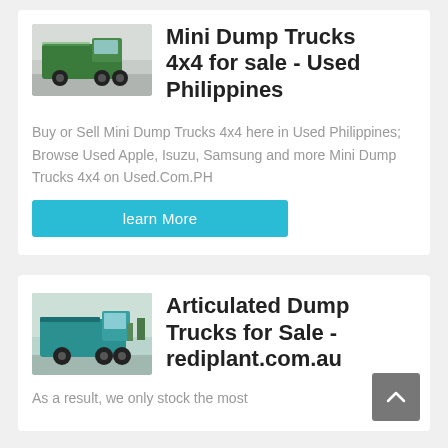[Figure (photo): Dump truck (green) photo thumbnail]
Mini Dump Trucks 4x4 for sale - Used Philippines
Buy or Sell Mini Dump Trucks 4x4 here in Used Philippines; Browse Used Apple, Isuzu, Samsung and more Mini Dump Trucks 4x4 on Used.Com.PH
learn More
[Figure (photo): Articulated dump truck (teal/green) photo thumbnail]
Articulated Dump Trucks for Sale - rediplant.com.au
As a result, we only stock the most